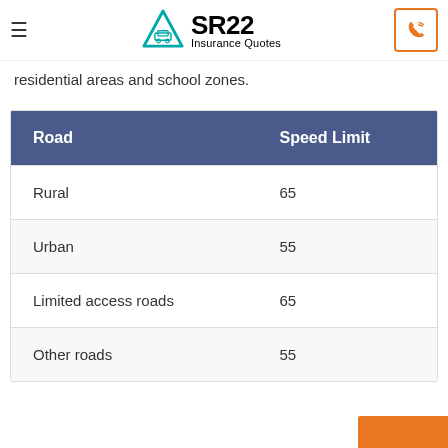SR22 Insurance Quotes
residential areas and school zones.
| Road | Speed Limit |
| --- | --- |
| Rural | 65 |
| Urban | 55 |
| Limited access roads | 65 |
| Other roads | 55 |